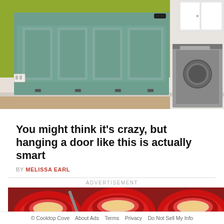[Figure (photo): A green painted room with a teal/sage green cabinet or fold-down door mounted horizontally on the wall. A washer or dryer appliance is visible to the right. The floor has wood or tile and there is a white baseboard. A wall outlet is visible on the left.]
You might think it's crazy, but hanging a door like this is actually smart
BY MELISSA EARL
ADVERTISEMENT
[Figure (photo): Close-up photo of stuffed red bell peppers baked in a tray, topped with cheese and herbs.]
© Cooktop Cove   About Ads   Terms   Privacy   Do Not Sell My Info